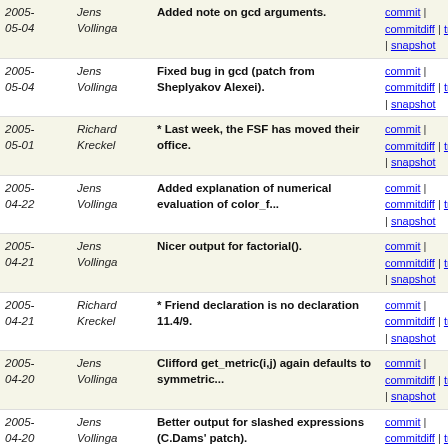| Date | Author | Commit Message | Links |
| --- | --- | --- | --- |
| 2005-05-04 | Jens Vollinga | Added note on gcd arguments. | commit | commitdiff | tree | snapshot |
| 2005-05-04 | Jens Vollinga | Fixed bug in gcd (patch from Sheplyakov Alexei). | commit | commitdiff | tree | snapshot |
| 2005-05-01 | Richard Kreckel | * Last week, the FSF has moved their office. | commit | commitdiff | tree | snapshot |
| 2005-04-22 | Jens Vollinga | Added explanation of numerical evaluation of color_f... | commit | commitdiff | tree | snapshot |
| 2005-04-21 | Jens Vollinga | Nicer output for factorial(). | commit | commitdiff | tree | snapshot |
| 2005-04-21 | Richard Kreckel | * Friend declaration is no declaration 11.4/9. | commit | commitdiff | tree | snapshot |
| 2005-04-20 | Jens Vollinga | Clifford get_metric(i,j) again defaults to symmetric... | commit | commitdiff | tree | snapshot |
| 2005-04-20 | Jens Vollinga | Better output for slashed expressions (C.Dams' patch). | commit | commitdiff | tree | snapshot |
| 2005-04-19 | Jens Vollinga | Fixed misprint in the delta tensor example. | commit | commitdiff | tree | snapshot |
| 2005-04-06 | Richard Kreckel | * Indentation and alignment fixes. | commit | commitdiff | tree | snapshot |
| 2005-04-01 | Jens Vollinga | * Applied Vladimir Kisil's patches (bug in clifford_pri... | commit | commitdiff | tree | snapshot |
| 2005-03-11 | Richard Kreckel | * Fix some language conformance issues needed for GCC 4.0 | commit | commitdiff | tree | snapshot |
| 2005-03-02 | Richard Kreckel | * Avoid suprious cross-references caused by @strong... | commit | commitdiff | tree | snapshot |